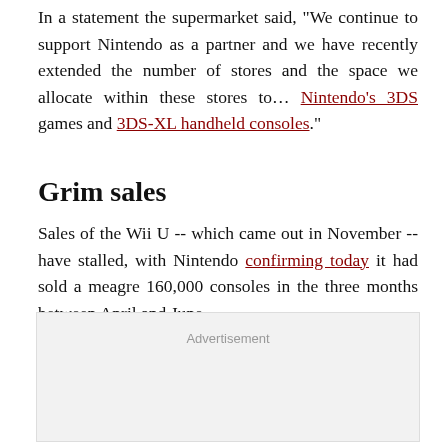In a statement the supermarket said, "We continue to support Nintendo as a partner and we have recently extended the number of stores and the space we allocate within these stores to… Nintendo's 3DS games and 3DS-XL handheld consoles."
Grim sales
Sales of the Wii U -- which came out in November -- have stalled, with Nintendo confirming today it had sold a meagre 160,000 consoles in the three months between April and June.
[Figure (other): Advertisement placeholder box with grey background]